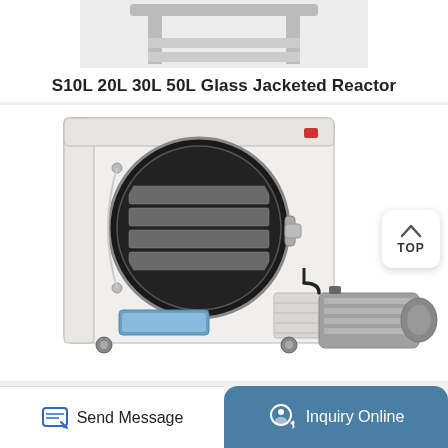[Figure (photo): Partial top view of a glass jacketed reactor frame/stand in white background]
S10L 20L 30L 50L Glass Jacketed Reactor
[Figure (photo): Freeze dryer / lyophilizer machine with circular door showing internal trays, a front touchscreen panel, on caster wheels, with an external vacuum pump connected via tubing, on white background]
TOP
Send Message
Inquiry Online